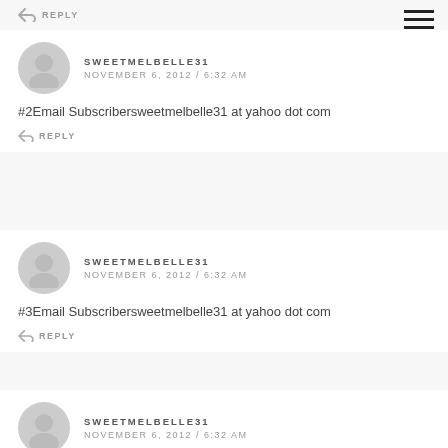REPLY
SWEETMELBELLE31
NOVEMBER 6, 2012 / 6:32 AM
#2Email Subscribersweetmelbelle31 at yahoo dot com
REPLY
SWEETMELBELLE31
NOVEMBER 6, 2012 / 6:32 AM
#3Email Subscribersweetmelbelle31 at yahoo dot com
REPLY
SWEETMELBELLE31
NOVEMBER 6, 2012 / 6:32 AM
#1Your button is on my blog at